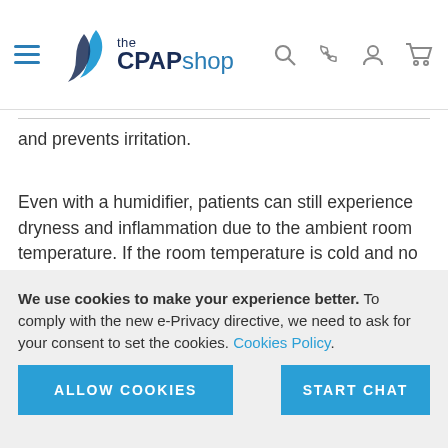[Figure (logo): The CPAP Shop logo with navigation icons (hamburger menu, search, phone, user, cart)]
and prevents irritation.
Even with a humidifier, patients can still experience dryness and inflammation due to the ambient room temperature. If the room temperature is cold and no heated humidifier is being used, the airflow through the mask will be cold as well. Constant cold air can cause a sore throat or other discomfort. Luckily, heated CPAP humidification and heated
We use cookies to make your experience better. To comply with the new e-Privacy directive, we need to ask for your consent to set the cookies. Cookies Policy.
ALLOW COOKIES
START CHAT